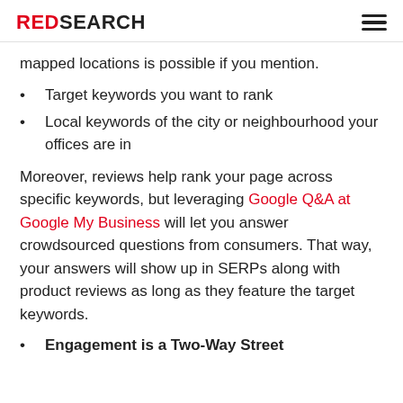REDSEARCH
mapped locations is possible if you mention.
Target keywords you want to rank
Local keywords of the city or neighbourhood your offices are in
Moreover, reviews help rank your page across specific keywords, but leveraging Google Q&A at Google My Business will let you answer crowdsourced questions from consumers. That way, your answers will show up in SERPs along with product reviews as long as they feature the target keywords.
Engagement is a Two-Way Street